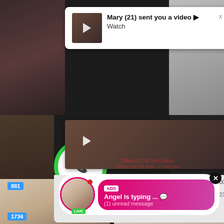[Figure (screenshot): Dark background with video thumbnails]
Mary (21) sent you a video ▶ Watch
Mary (21) sent you a video ▶ Watch
1Missed Call from Eliza
Please call me back - I miss you
0:00  3:23
1734
ADS
Angel is typing ... 💬
(1) unread message
881
LIVE
POV